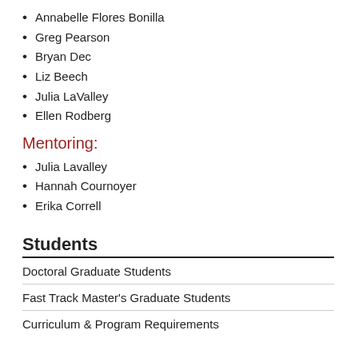Annabelle Flores Bonilla
Greg Pearson
Bryan Dec
Liz Beech
Julia LaValley
Ellen Rodberg
Mentoring:
Julia Lavalley
Hannah Cournoyer
Erika Correll
Students
Doctoral Graduate Students
Fast Track Master's Graduate Students
Curriculum & Program Requirements